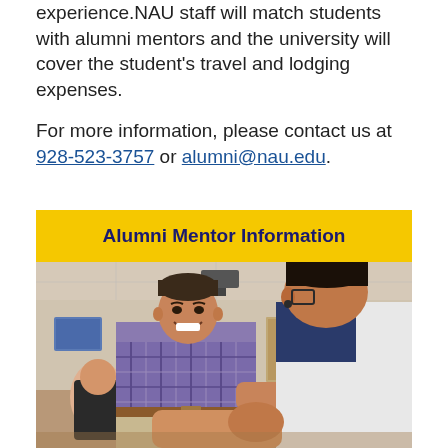experience.NAU staff will match students with alumni mentors and the university will cover the student's travel and lodging expenses.
For more information, please contact us at 928-523-3757 or alumni@nau.edu.
Alumni Mentor Information
[Figure (photo): Two men shaking hands and smiling in a room with tables and chairs; other people visible in the background.]